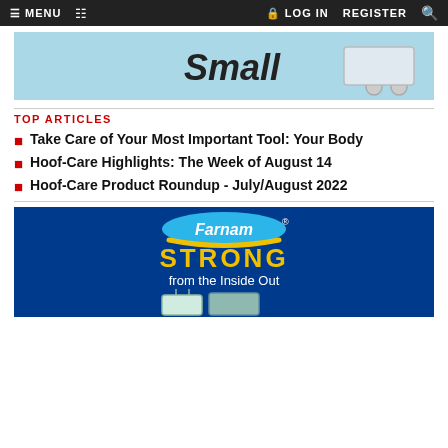MENU  [cart]  LOG IN  REGISTER  [search]
[Figure (photo): Advertisement banner with light blue background showing the word 'Small' in bold italic text and a wheeled cart/tool equipment image]
TOP ARTICLES
Take Care of Your Most Important Tool: Your Body
Hoof-Care Highlights: The Week of August 14
Hoof-Care Product Roundup - July/August 2022
[Figure (photo): Farnam advertisement with dark blue background showing 'Farnam' logo in blue oval with gold arc, text 'STRONG from the Inside Out' in gold and white, with product buckets at the bottom]